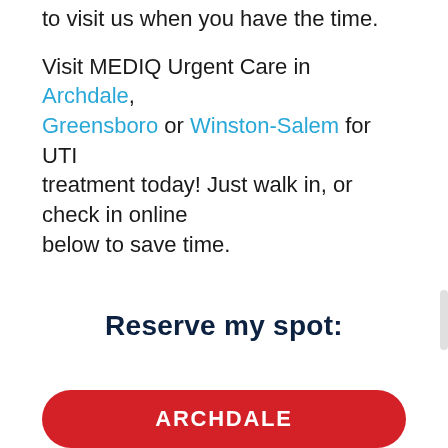to visit us when you have the time.
Visit MEDIQ Urgent Care in Archdale, Greensboro or Winston-Salem for UTI treatment today! Just walk in, or check in online below to save time.
Reserve my spot:
ARCHDALE